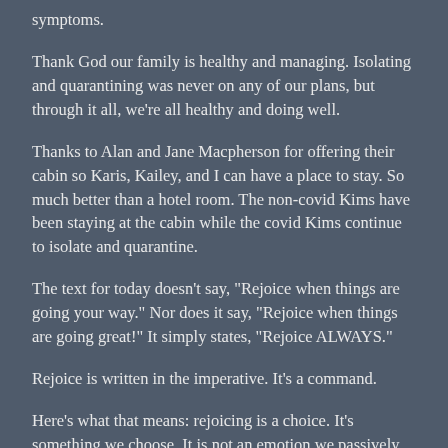symptoms.
Thank God our family is healthy and managing. Isolating and quarantining was never on any of our plans, but through it all, we're all healthy and doing well.
Thanks to Alan and Jane Macpherson for offering their cabin so Karis, Kailey, and I can have a place to stay. So much better than a hotel room. The non-covid Kims have been staying at the cabin while the covid Kims continue to isolate and quarantine.
The text for today doesn't say, "Rejoice when things are going your way." Nor does it say, "Rejoice when things are going great!" It simply states, "Rejoice ALWAYS."
Rejoice is written in the imperative. It's a command.
Here's what that means: rejoicing is a choice. It's something we choose. It is not an emotion we passively feel, but it is a condition we choose.